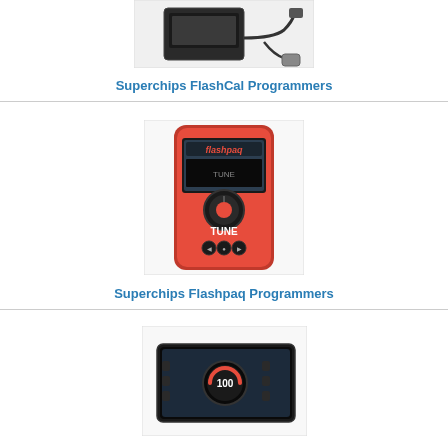[Figure (photo): Superchips FlashCal programmer device with cable and power adapter]
Superchips FlashCal Programmers
[Figure (photo): Superchips Flashpaq programmer - red handheld device with TUNE button and flashpaq branding]
Superchips Flashpaq Programmers
[Figure (photo): Superchips TrailCal programmer - wide touchscreen tablet-style device]
Superchips TrailCal Programmers